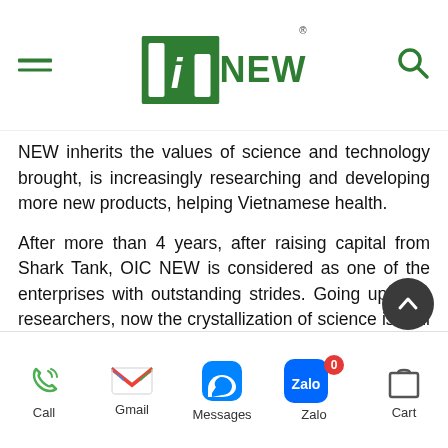OIC NEW (logo header with hamburger menu and search icon)
NEW inherits the values of science and technology brought, is increasingly researching and developing more new products, helping Vietnamese health.
After more than 4 years, after raising capital from Shark Tank, OIC NEW is considered as one of the enterprises with outstanding strides. Going up from researchers, now the crystallization of science is well received by consumers as a great success of the business. By the quality of those scientific crystals, OIC NEW is not only interested by investors but also receives the trust and love of customers. It can be said that the “blood” of founder Luu Hai Minh has now forged valuable “gold bars” for businesses. Shark Tank
Call  Gmail  Messages  Zalo  Cart